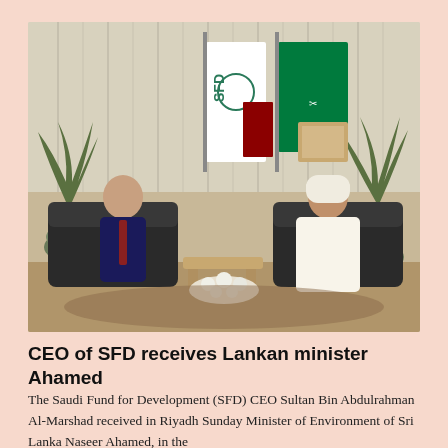[Figure (photo): Two men seated in a formal meeting room. On the left, an older man in a dark suit with a tie. On the right, a man in a white Saudi thobe. Between them are flags including the SFD (Saudi Fund for Development) flag and the Saudi Arabian green flag. Potted plants and a small floral arrangement are visible.]
CEO of SFD receives Lankan minister Ahamed
The Saudi Fund for Development (SFD) CEO Sultan Bin Abdulrahman Al-Marshad received in Riyadh Sunday Minister of Environment of Sri Lanka Naseer Ahamed, in the